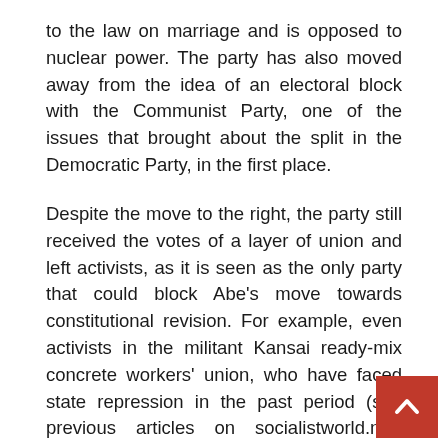to the law on marriage and is opposed to nuclear power. The party has also moved away from the idea of an electoral block with the Communist Party, one of the issues that brought about the split in the Democratic Party, in the first place.
Despite the move to the right, the party still received the votes of a layer of union and left activists, as it is seen as the only party that could block Abe's move towards constitutional revision. For example, even activists in the militant Kansai ready-mix concrete workers' union, who have faced state repression in the past period (see previous articles on socialistworld.net) expressed the view that while they may not like many things about the CDP, their potential governing partners, the Democratic Party, when last in government, oversaw an abatement of state repression and arrested union members were released. However, the CDP is regarded by activists as the best of a bad lot. It has squandered any enthusiasm that it initially had when it was being attacked by the right as a reissue of the Japan Socialist Party.